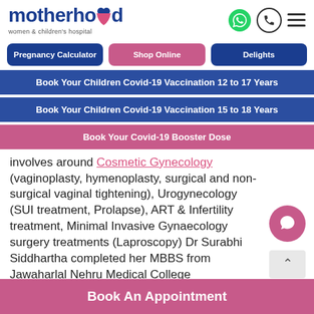[Figure (logo): Motherhood Women & Children's Hospital logo with stylized text and heart icon]
Pregnancy Calculator
Shop Online
Delights
Book Your Children Covid-19 Vaccination 12 to 17 Years
Book Your Children Covid-19 Vaccination 15 to 18 Years
Book Your Covid-19 Booster Dose
involves around Cosmetic Gynecology (vaginoplasty, hymenoplasty, surgical and non-surgical vaginal tightening), Urogynecology (SUI treatment, Prolapse), ART & Infertility treatment, Minimal Invasive Gynaecology surgery treatments (Laproscopy) Dr Surabhi Siddhartha completed her MBBS from Jawaharlal Nehru Medical College Government
Book An Appointment